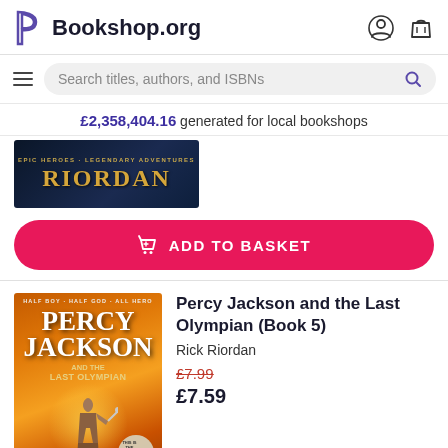Bookshop.org
Search titles, authors, and ISBNs
£2,358,404.16 generated for local bookshops
[Figure (illustration): Riordan branded banner with gold text on dark blue background]
ADD TO BASKET
[Figure (photo): Book cover of Percy Jackson and the Last Olympian by Rick Riordan]
Percy Jackson and the Last Olympian (Book 5)
Rick Riordan
£7.99
£7.59